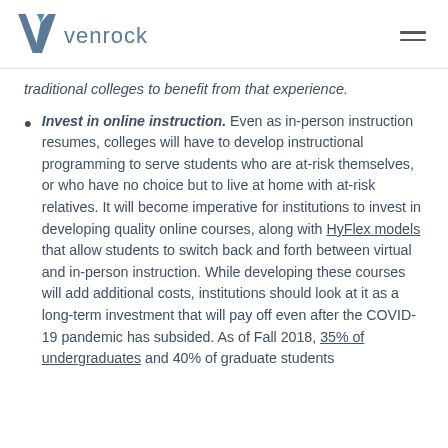venrock
traditional colleges to benefit from that experience.
Invest in online instruction. Even as in-person instruction resumes, colleges will have to develop instructional programming to serve students who are at-risk themselves, or who have no choice but to live at home with at-risk relatives. It will become imperative for institutions to invest in developing quality online courses, along with HyFlex models that allow students to switch back and forth between virtual and in-person instruction. While developing these courses will add additional costs, institutions should look at it as a long-term investment that will pay off even after the COVID-19 pandemic has subsided. As of Fall 2018, 35% of undergraduates and 40% of graduate students